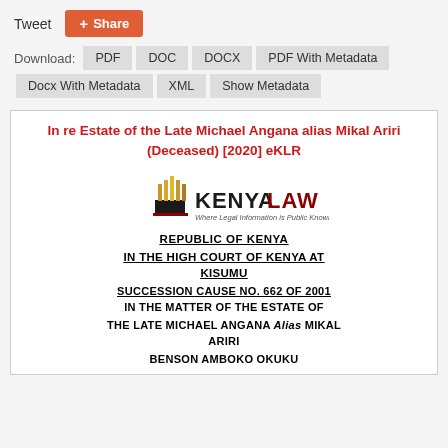Tweet  Share
Download: PDF  DOC  DOCX  PDF With Metadata  Docx With Metadata  XML  Show Metadata
In re Estate of the Late Michael Angana alias Mikal Ariri (Deceased) [2020] eKLR
[Figure (logo): Kenya Law logo — Where Legal Information is Public Knowledge]
REPUBLIC OF KENYA
IN THE HIGH COURT OF KENYA AT KISUMU
SUCCESSION CAUSE NO. 662 OF 2001
IN THE MATTER OF THE ESTATE OF
THE LATE MICHAEL ANGANA Alias MIKAL ARIRI
BENSON AMBOKO OKUKU